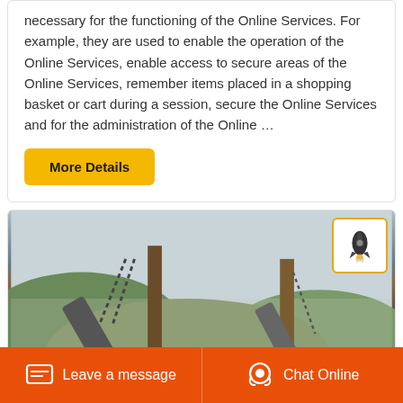necessary for the functioning of the Online Services. For example, they are used to enable the operation of the Online Services, enable access to secure areas of the Online Services, remember items placed in a shopping basket or cart during a session, secure the Online Services and for the administration of the Online …
More Details
[Figure (photo): Industrial mining/quarry site showing conveyor belts, steel structures and chains against a hilly landscape background]
Leave a message  Chat Online